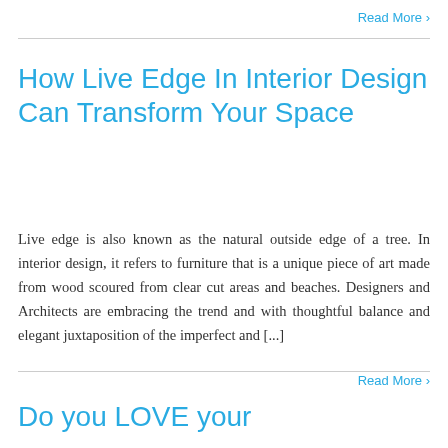Read More >
How Live Edge In Interior Design Can Transform Your Space
Live edge is also known as the natural outside edge of a tree. In interior design, it refers to furniture that is a unique piece of art made from wood scoured from clear cut areas and beaches. Designers and Architects are embracing the trend and with thoughtful balance and elegant juxtaposition of the imperfect and [...]
Read More >
Do you LOVE your